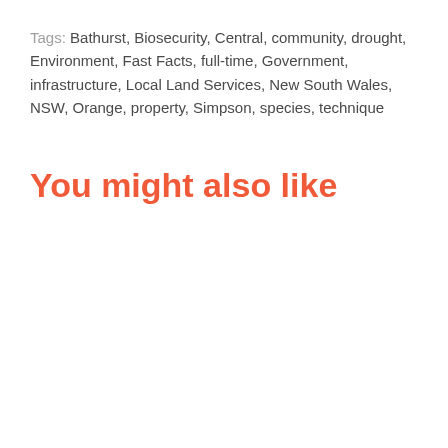Tags: Bathurst, Biosecurity, Central, community, drought, Environment, Fast Facts, full-time, Government, infrastructure, Local Land Services, New South Wales, NSW, Orange, property, Simpson, species, technique
You might also like